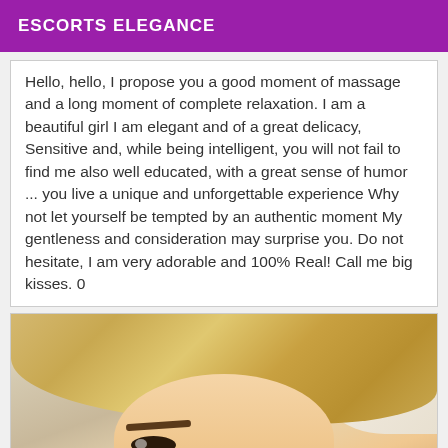ESCORTS ELEGANCE
Hello, hello, I propose you a good moment of massage and a long moment of complete relaxation. I am a beautiful girl I am elegant and of a great delicacy, Sensitive and, while being intelligent, you will not fail to find me also well educated, with a great sense of humor ... you live a unique and unforgettable experience Why not let yourself be tempted by an authentic moment My gentleness and consideration may surprise you. Do not hesitate, I am very adorable and 100% Real! Call me big kisses. 0
[Figure (photo): Close-up photo of a blonde woman with short hair, prominent eyebrows, wearing a gold earring, looking at the camera]